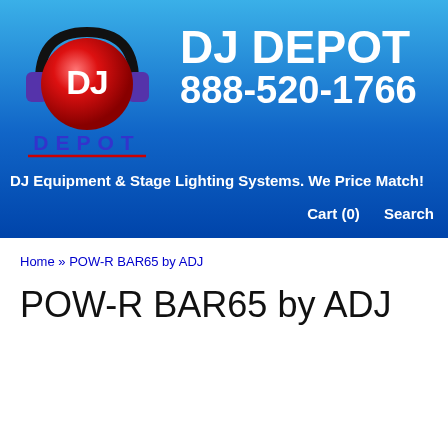[Figure (logo): DJ Depot logo: red sphere with DJ text and headphones graphic above text 'DEPOT' in purple with red underline, alongside 'DJ DEPOT 888-520-1766' in white bold text on blue gradient background]
DJ Equipment & Stage Lighting Systems. We Price Match!
Cart (0)   Search
Home » POW-R BAR65 by ADJ
POW-R BAR65 by ADJ